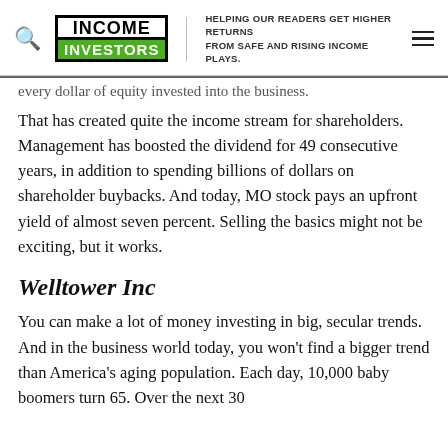INCOME INVESTORS — HELPING OUR READERS GET HIGHER RETURNS FROM SAFE AND RISING INCOME PLAYS.
every dollar of equity invested into the business.
That has created quite the income stream for shareholders. Management has boosted the dividend for 49 consecutive years, in addition to spending billions of dollars on shareholder buybacks. And today, MO stock pays an upfront yield of almost seven percent. Selling the basics might not be exciting, but it works.
Welltower Inc
You can make a lot of money investing in big, secular trends. And in the business world today, you won't find a bigger trend than America's aging population. Each day, 10,000 baby boomers turn 65. Over the next 30